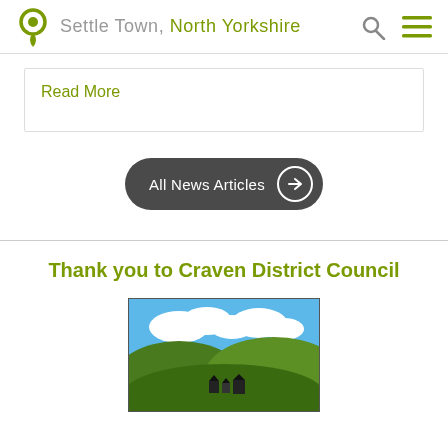Settle Town, North Yorkshire
Read More
All News Articles
Thank you to Craven District Council
[Figure (illustration): Craven District Council logo showing a landscape with green hills, clouds, and sky in a rectangular bordered illustration]